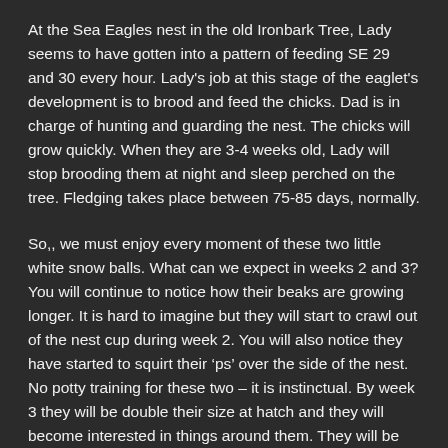At the Sea Eagles nest in the old Ironbark Tree, Lady seems to have gotten into a pattern of feeding SE 29 and 30 every hour. Lady's job at this stage of the eaglet's development is to brood and feed the chicks. Dad is in charge of hunting and guarding the nest. The chicks will grow quickly. When they are 3-4 weeks old, Lady will stop brooding them at night and sleep perched on the tree. Fledging takes place between 75-85 days, normally.
So,, we must enjoy every moment of these two little white snow balls. What can we expect in weeks 2 and 3? You will continue to notice how their beaks are growing longer. It is hard to imagine but they will start to crawl out of the nest cup during week 2. You will also notice they have started to squirt their ‘ps’ over the side of the nest. No potty training for these two – it is instinctual. By week 3 they will be double their size at hatch and they will become interested in things around them. They will be